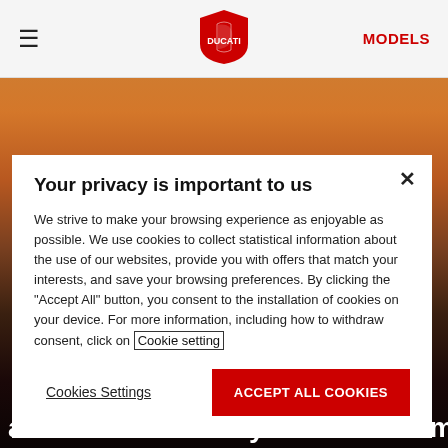[Figure (logo): Ducati shield logo in red, centered in navbar]
≡  DUCATI [logo]  MODELS
[Figure (photo): Sunset background with silhouette of a person on a motorcycle, warm orange and dark tones]
Your privacy is important to us
We strive to make your browsing experience as enjoyable as possible. We use cookies to collect statistical information about the use of our websites, provide you with offers that match your interests, and save your browsing preferences. By clicking the "Accept All" button, you consent to the installation of cookies on your device. For more information, including how to withdraw consent, click on Cookie setting
Cookies Settings
ACCEPT ALL COOKIES
and solid durability meet the unmistakable